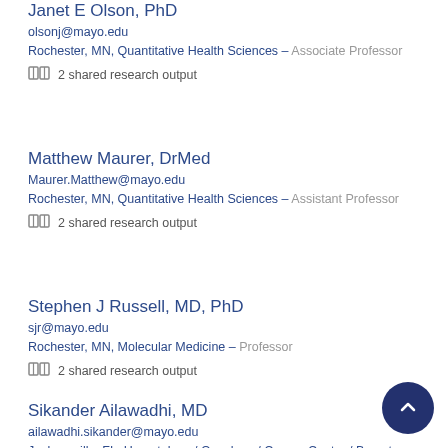Janet E Olson, PhD
olsonj@mayo.edu
Rochester, MN, Quantitative Health Sciences – Associate Professor
2 shared research output
Matthew Maurer, DrMed
Maurer.Matthew@mayo.edu
Rochester, MN, Quantitative Health Sciences – Assistant Professor
2 shared research output
Stephen J Russell, MD, PhD
sjr@mayo.edu
Rochester, MN, Molecular Medicine – Professor
2 shared research output
Sikander Ailawadhi, MD
ailawadhi.sikander@mayo.edu
Jacksonville, FL, Hematology / Oncology / Cancer Center / Breast